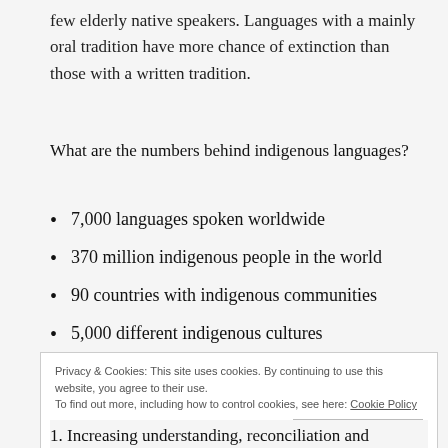few elderly native speakers. Languages with a mainly oral tradition have more chance of extinction than those with a written tradition.
What are the numbers behind indigenous languages?
7,000 languages spoken worldwide
370 million indigenous people in the world
90 countries with indigenous communities
5,000 different indigenous cultures
Privacy & Cookies: This site uses cookies. By continuing to use this website, you agree to their use.
To find out more, including how to control cookies, see here: Cookie Policy
1. Increasing understanding, reconciliation and